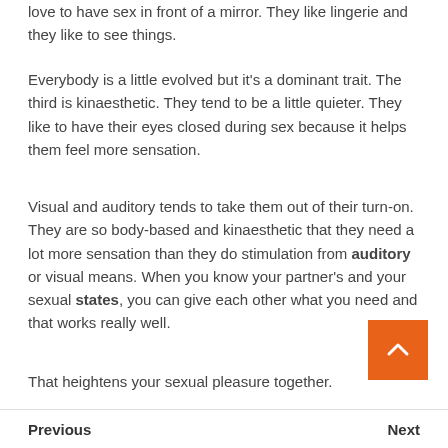love to have sex in front of a mirror. They like lingerie and they like to see things.
Everybody is a little evolved but it's a dominant trait. The third is kinaesthetic. They tend to be a little quieter. They like to have their eyes closed during sex because it helps them feel more sensation.
Visual and auditory tends to take them out of their turn-on. They are so body-based and kinaesthetic that they need a lot more sensation than they do stimulation from auditory or visual means. When you know your partner's and your sexual states, you can give each other what you need and that works really well.
That heightens your sexual pleasure together.
Previous    Next